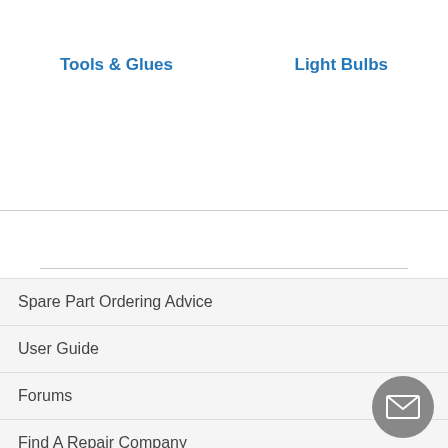Tools & Glues
Light Bulbs
Spare Part Ordering Advice
User Guide
Forums
Find A Repair Company